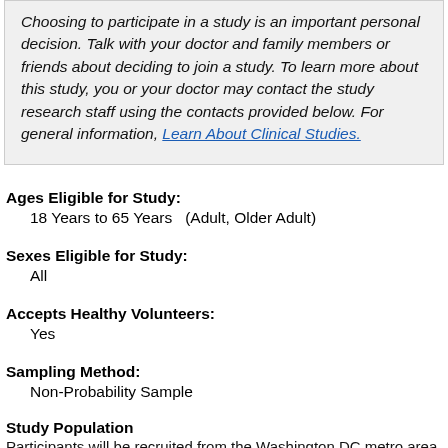Choosing to participate in a study is an important personal decision. Talk with your doctor and family members or friends about deciding to join a study. To learn more about this study, you or your doctor may contact the study research staff using the contacts provided below. For general information, Learn About Clinical Studies.
Ages Eligible for Study:
18 Years to 65 Years   (Adult, Older Adult)
Sexes Eligible for Study:
All
Accepts Healthy Volunteers:
Yes
Sampling Method:
Non-Probability Sample
Study Population
Participants will be recruited from the Washington DC metro area, li...